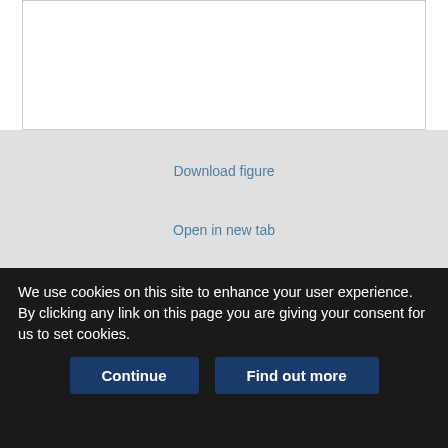[Figure (other): White figure/image placeholder area with border]
Download figure
Open in new tab
Download powerpoint
FIGURE 3.
We use cookies on this site to enhance your user experience. By clicking any link on this page you are giving your consent for us to set cookies.
Continue
Find out more